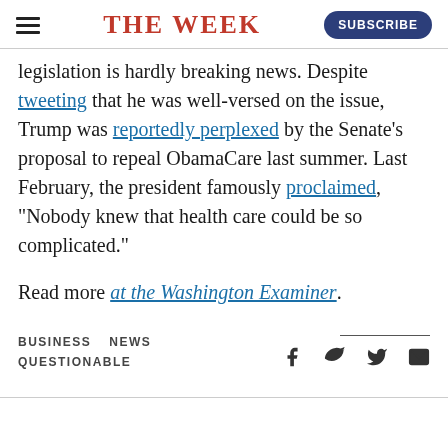THE WEEK
legislation is hardly breaking news. Despite tweeting that he was well-versed on the issue, Trump was reportedly perplexed by the Senate's proposal to repeal ObamaCare last summer. Last February, the president famously proclaimed, "Nobody knew that health care could be so complicated."
Read more at the Washington Examiner.
BUSINESS  NEWS  QUESTIONABLE